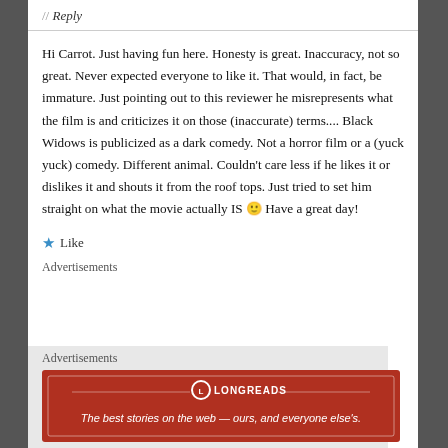// Reply
Hi Carrot. Just having fun here. Honesty is great. Inaccuracy, not so great. Never expected everyone to like it. That would, in fact, be immature. Just pointing out to this reviewer he misrepresents what the film is and criticizes it on those (inaccurate) terms.... Black Widows is publicized as a dark comedy. Not a horror film or a (yuck yuck) comedy. Different animal. Couldn't care less if he likes it or dislikes it and shouts it from the roof tops. Just tried to set him straight on what the movie actually IS 🙂 Have a great day!
★ Like
Advertisements
Advertisements
[Figure (other): Longreads advertisement banner: red background with Longreads logo and text 'The best stories on the web — ours, and everyone else's.']